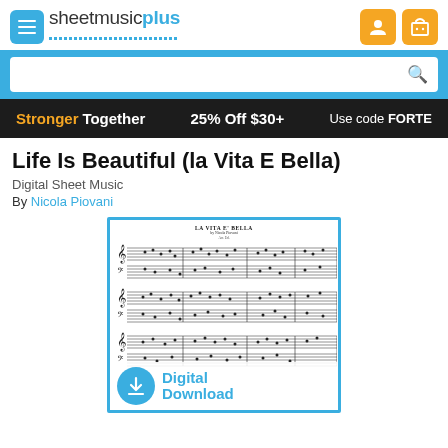sheetmusicplus
[Figure (screenshot): Search bar with magnifying glass icon on blue background]
Stronger Together   25% Off $30+   Use code FORTE
Life Is Beautiful (la Vita E Bella)
Digital Sheet Music
By Nicola Piovani
[Figure (illustration): Preview of La Vita E Bella sheet music with Digital Download overlay badge]